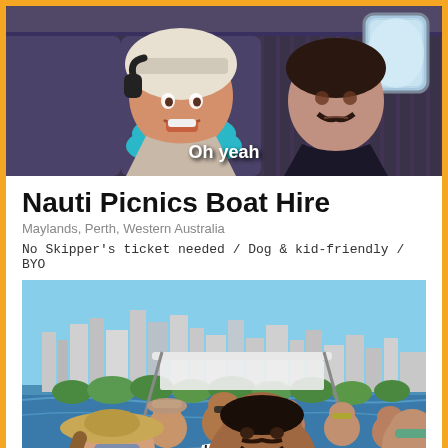[Figure (photo): Movie/TV still showing a woman with a neck pillow and headphones on an airplane, with the subtitle 'Oh yeah' overlaid. A man sits next to her.]
Nauti Picnics Boat Hire
Maylands, Perth, Western Australia
No Skipper's ticket needed / Dog & kid-friendly / BYO
[Figure (photo): Group of people on a boat taking a selfie with the Perth city skyline in the background on a sunny day.]